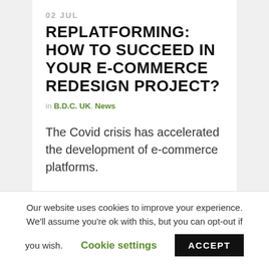02 JUL
REPLATFORMING: HOW TO SUCCEED IN YOUR E-COMMERCE REDESIGN PROJECT?
in B.D.C. UK, News
The Covid crisis has accelerated the development of e-commerce platforms.
Our website uses cookies to improve your experience. We'll assume you're ok with this, but you can opt-out if you wish. Cookie settings ACCEPT